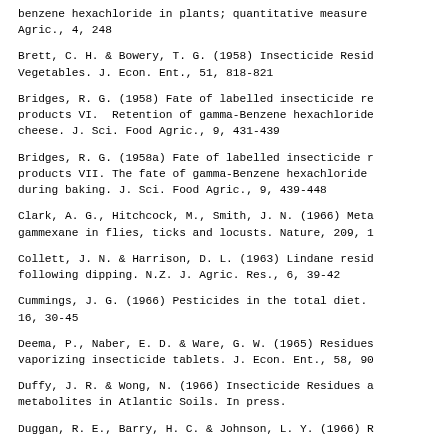benzene hexachloride in plants; quantitative measure Agric., 4, 248
Brett, C. H. & Bowery, T. G. (1958) Insecticide Resid Vegetables. J. Econ. Ent., 51, 818-821
Bridges, R. G. (1958) Fate of labelled insecticide re products VI.  Retention of gamma-Benzene hexachloride cheese. J. Sci. Food Agric., 9, 431-439
Bridges, R. G. (1958a) Fate of labelled insecticide r products VII. The fate of gamma-Benzene hexachloride during baking. J. Sci. Food Agric., 9, 439-448
Clark, A. G., Hitchcock, M., Smith, J. N. (1966) Meta gammexane in flies, ticks and locusts. Nature, 209, 1
Collett, J. N. & Harrison, D. L. (1963) Lindane resid following dipping. N.Z. J. Agric. Res., 6, 39-42
Cummings, J. G. (1966) Pesticides in the total diet. 16, 30-45
Deema, P., Naber, E. D. & Ware, G. W. (1965) Residues vaporizing insecticide tablets. J. Econ. Ent., 58, 90
Duffy, J. R. & Wong, N. (1966) Insecticide Residues a metabolites in Atlantic Soils. In press.
Duggan, R. E., Barry, H. C. & Johnson, L. Y. (1966) R